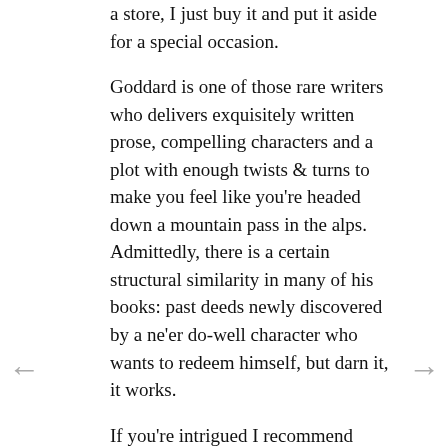a store, I just buy it and put it aside for a special occasion.

Goddard is one of those rare writers who delivers exquisitely written prose, compelling characters and a plot with enough twists & turns to make you feel like you're headed down a mountain pass in the alps.  Admittedly, there is a certain structural similarity in many of his books: past deeds newly discovered by a ne'er do-well character who wants to redeem himself, but darn it, it works.

If you're intrigued I recommend starting with "Into the Blue," part of three free-standing books centered around Harry Barnett, or "Beyond Recall".  Or "Sight Unseen."   They are all excellent, filled with kidnapping, murder, family tragedy, blackmail, remorse and all set in